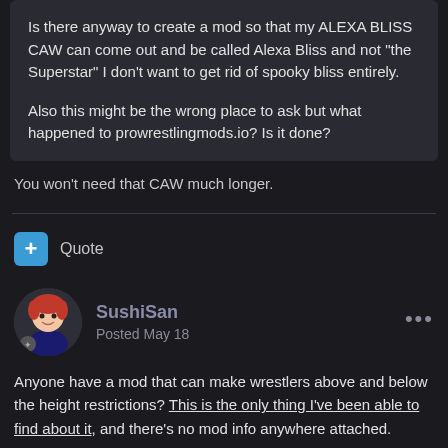Is there anyway to create a mod so that my ALEXA BLISS CAW can come out and be called Alexa Bliss and not "the Superstar" I don't want to get rid of spooky bliss entirely.

Also this might be the wrong place to ask but what happened to prowrestlingmods.io?  Is it done?
You won't need that CAW much longer.
Quote
SushiSan
Posted May 18
Anyone have a mod that can make wrestlers above and below the height restrictions? This is the only thing I've been able to find about it, and there's no mod info anywhere attached.